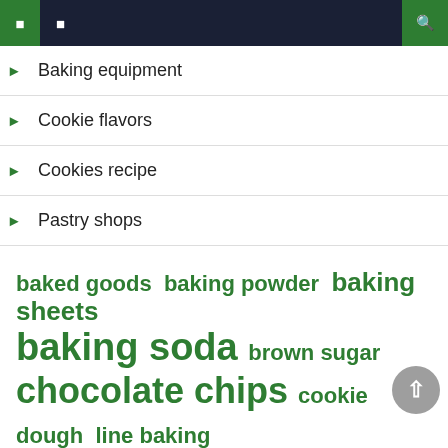Navigation menu with hamburger icon, menu item icon, and search icon
Baking equipment
Cookie flavors
Cookies recipe
Pastry shops
baked goods  baking powder  baking sheets  baking soda  brown sugar  chocolate chips  cookie dough  line baking  parchment paper  preheat oven  purpose flour  room temperature  sheets parchment